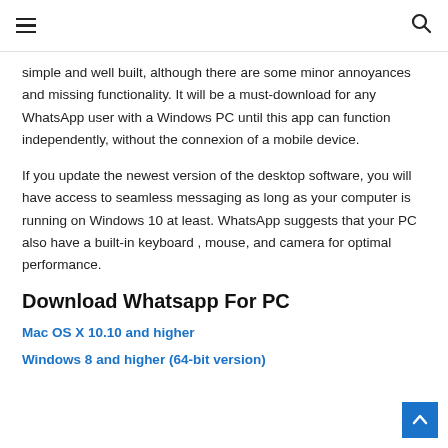≡ [hamburger menu] [search icon]
simple and well built, although there are some minor annoyances and missing functionality. It will be a must-download for any WhatsApp user with a Windows PC until this app can function independently, without the connexion of a mobile device.
If you update the newest version of the desktop software, you will have access to seamless messaging as long as your computer is running on Windows 10 at least. WhatsApp suggests that your PC also have a built-in keyboard , mouse, and camera for optimal performance.
Download Whatsapp For PC
Mac OS X 10.10 and higher
Windows 8 and higher (64-bit version)